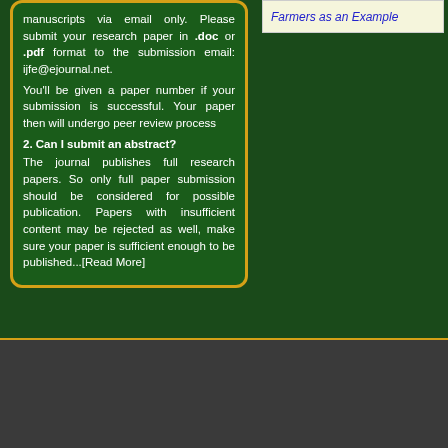manuscripts via email only. Please submit your research paper in .doc or .pdf format to the submission email: ijfe@ejournal.net. You'll be given a paper number if your submission is successful. Your paper then will undergo peer review process
2. Can I submit an abstract?
The journal publishes full research papers. So only full paper submission should be considered for possible publication. Papers with insufficient content may be rejected as well, make sure your paper is sufficient enough to be published...[Read More]
Farmers as an Example